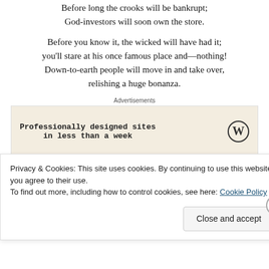Before long the crooks will be bankrupt;
God-investors will soon own the store.
Before you know it, the wicked will have had it;
you'll stare at his once famous place and—nothing!
Down-to-earth people will move in and take over,
relishing a huge bonanza.
[Figure (other): Advertisement box with text 'Professionally designed sites in less than a week' and WordPress logo]
Bad guys have it in for the good guys,
Privacy & Cookies: This site uses cookies. By continuing to use this website, you agree to their use.
To find out more, including how to control cookies, see here: Cookie Policy